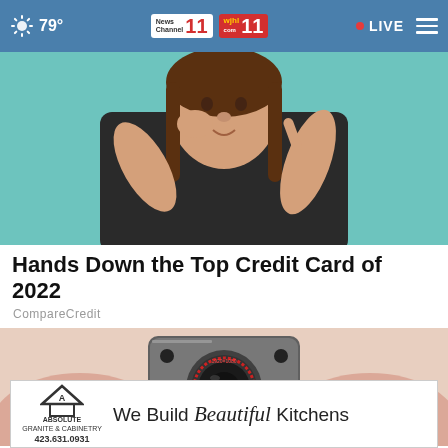79° News Channel 11 wjhl 11 • LIVE
[Figure (photo): Woman in black v-neck shirt pointing at her nose against teal background]
Hands Down the Top Credit Card of 2022
CompareCredit
[Figure (photo): Close-up of fingers holding a tiny metallic spy camera with red text ring showing 1920x1080 and Mega Pixels]
[Figure (photo): Bottom banner advertisement: ABSOLUTE Granite & Cabinetry - We Build Beautiful Kitchens - 423.631.0931]